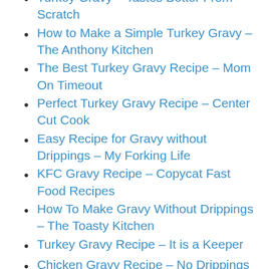Turkey Gravy – Tastes Better From Scratch
How to Make a Simple Turkey Gravy – The Anthony Kitchen
The Best Turkey Gravy Recipe – Mom On Timeout
Perfect Turkey Gravy Recipe – Center Cut Cook
Easy Recipe for Gravy without Drippings – My Forking Life
KFC Gravy Recipe – Copycat Fast Food Recipes
How To Make Gravy Without Drippings – The Toasty Kitchen
Turkey Gravy Recipe – It is a Keeper
Chicken Gravy Recipe – No Drippings Needed! – The Cozy Cook
Brown Gravy Recipe – No Drippings